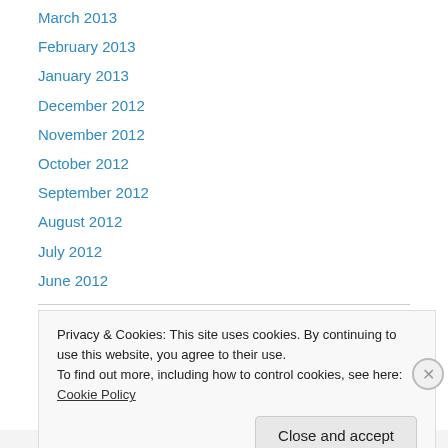March 2013
February 2013
January 2013
December 2012
November 2012
October 2012
September 2012
August 2012
July 2012
June 2012
Tags
Privacy & Cookies: This site uses cookies. By continuing to use this website, you agree to their use.
To find out more, including how to control cookies, see here: Cookie Policy
Close and accept